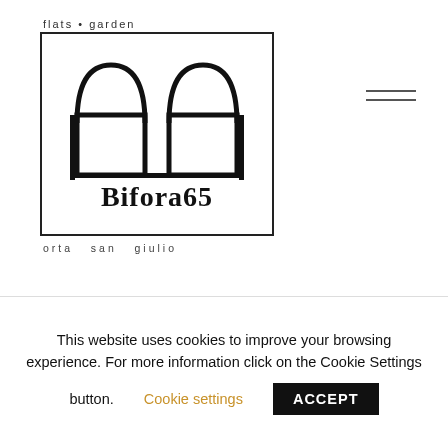[Figure (logo): Bifora65 logo with arched window illustration, tagline 'flats · garden', name 'Bifora65', subtitle 'orta san giulio']
theatre behind it: the hill of Sacro Monte. Thanks to the lighting, in this space, calibrated to offer an unexpected perceptive experience, there are always new green and blue frescoes. Because there are two perspectives to choose from: earth and water. Design & soul.
This website uses cookies to improve your browsing experience. For more information click on the Cookie Settings button. Cookie settings ACCEPT